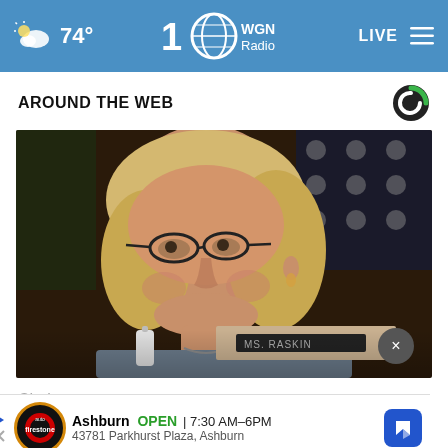74° WGN Radio LIVE
AROUND THE WEB
[Figure (photo): Woman with blonde hair and dark-rimmed glasses sitting at a congressional hearing, appearing serious. An American flag is visible in the background.]
Che... nati... ite
Ashburn  OPEN  7:30 AM–6PM  43781 Parkhurst Plaza, Ashburn